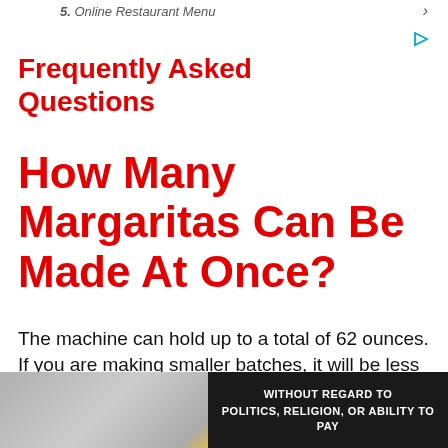5. Online Restaurant Menu ›
Frequently Asked Questions
How Many Margaritas Can Be Made At Once?
The machine can hold up to a total of 62 ounces. If you are making smaller batches, it will be less but not by much.
[Figure (photo): Advertisement banner showing an airplane being loaded with cargo, with overlay text reading WITHOUT REGARD TO POLITICS, RELIGION, OR ABILITY TO PAY]